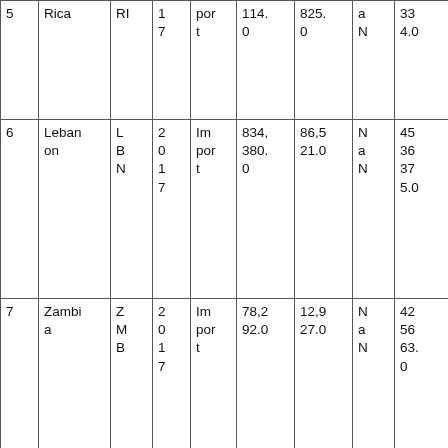| 5 | Rica | RI | 1
7 | por
t | 114.
0 | 825.
0 | a
N | 33
4.0 | 8 |
| 6 | Lebanon | L
B
N | 2
0
1
7 | Im
por
t | 834,
380.
0 | 86,5
21.0 | N
a
N | 45
36
37
5.0 | 9.6
4 |
| 7 | Zambia | Z
M
B | 2
0
1
7 | Im
por
t | 78,2
92.0 | 12,9
27.0 | N
a
N | 42
56
63.
0 | 6.0
6 |
|  |  | V | 2 | Im | 763, |  | N |  |  |